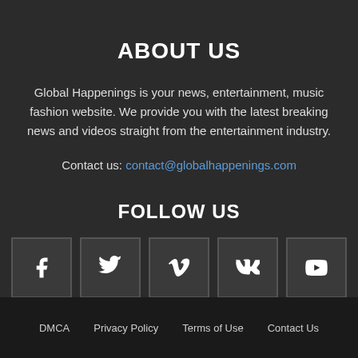ABOUT US
Global Happenings is your news, entertainment, music fashion website. We provide you with the latest breaking news and videos straight from the entertainment industry.
Contact us: contact@globalhappenings.com
FOLLOW US
[Figure (infographic): Five social media icon boxes: Facebook (f), Twitter (bird), Vimeo (V), VK (VK), YouTube (play button)]
DMCA   Privacy Policy   Terms of Use   Contact Us